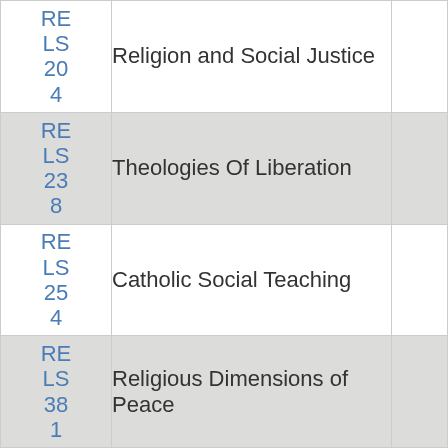| Code | Course Name |  |
| --- | --- | --- |
| RELS 204 | Religion and Social Justice |  |
| RELS 238 | Theologies Of Liberation |  |
| RELS 254 | Catholic Social Teaching |  |
| RELS 381 | Religious Dimensions of Peace |  |